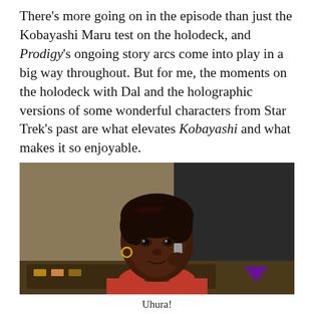There's more going on in the episode than just the Kobayashi Maru test on the holodeck, and Prodigy's ongoing story arcs come into play in a big way throughout. But for me, the moments on the holodeck with Dal and the holographic versions of some wonderful characters from Star Trek's past are what elevates Kobayashi and what makes it so enjoyable.
[Figure (illustration): Animated illustration of Uhura, a dark-skinned woman with short black hair, wearing a red Star Trek uniform, sitting at a console with her hand near her ear communicator. Background shows a starship bridge interior with warm tan tones.]
Uhura!